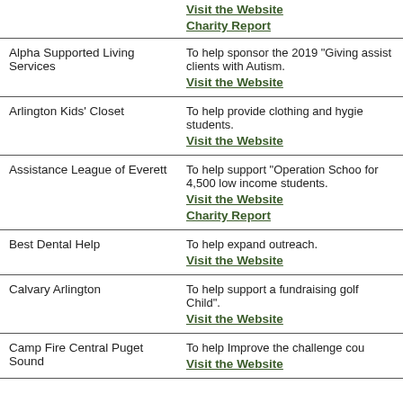| Organization | Description |
| --- | --- |
|  | Visit the Website
Charity Report |
| Alpha Supported Living Services | To help sponsor the 2019 "Giving assist clients with Autism.
Visit the Website |
| Arlington Kids' Closet | To help provide clothing and hygie students.
Visit the Website |
| Assistance League of Everett | To help support "Operation Schoo for 4,500 low income students.
Visit the Website
Charity Report |
| Best Dental Help | To help expand outreach.
Visit the Website |
| Calvary Arlington | To help support a fundraising golf Child".
Visit the Website |
| Camp Fire Central Puget Sound | To help Improve the challenge cou
Visit the Website |